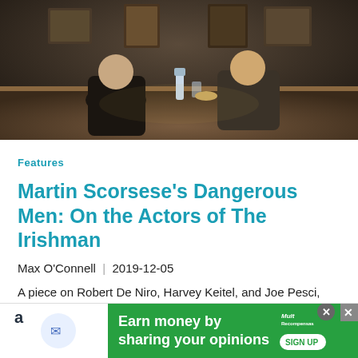[Figure (photo): Movie still from The Irishman showing two men in suits seated at a dark wooden table in a dimly lit room with paintings on the wall]
Features
Martin Scorsese’s Dangerous Men: On the Actors of The Irishman
Max O’Connell  |  2019-12-05
A piece on Robert De Niro, Harvey Keitel, and Joe Pesci, and what they’ve meant to the career of Martin Scorsese.
⚠ May contain spoilers
[Figure (screenshot): Advertisement banner: Earn money by sharing your opinions - Sign Up button, with Amazon and Multiplica Recompensas logos]